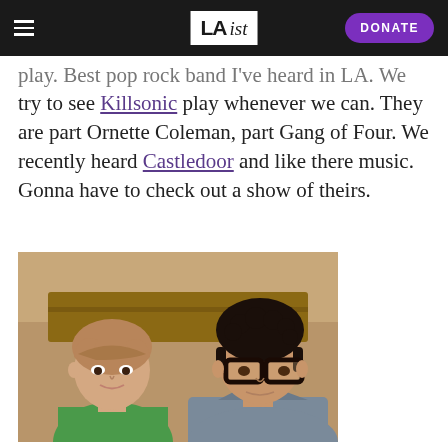LAist — DONATE
play. Best pop rock band I've heard in LA. We also try to see Killsonic play whenever we can. They are part Ornette Coleman, part Gang of Four. We recently heard Castledoor and like there music. Gonna have to check out a show of theirs.
[Figure (photo): Two people sitting side by side: a young woman with light brown hair wearing a green top on the left, and a young man with curly dark hair wearing glasses and a grey shirt on the right. They are seated at what appears to be a wooden table or booth, both looking at the camera with neutral expressions.]